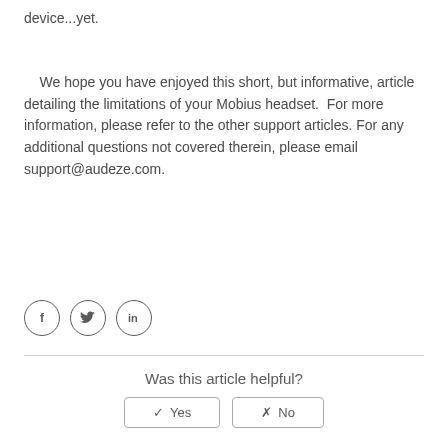device...yet.
We hope you have enjoyed this short, but informative, article detailing the limitations of your Mobius headset.  For more information, please refer to the other support articles.  For any additional questions not covered therein, please email support@audeze.com.
[Figure (illustration): Three social media icons in circles: Facebook (f), Twitter (bird), LinkedIn (in)]
Was this article helpful?
Yes | No buttons